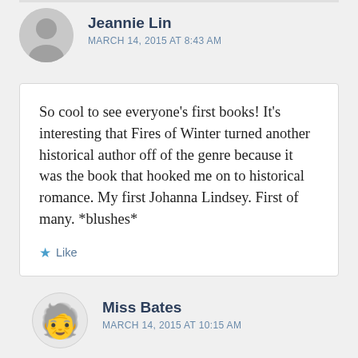Jeannie Lin
MARCH 14, 2015 AT 8:43 AM
So cool to see everyone’s first books! It’s interesting that Fires of Winter turned another historical author off of the genre because it was the book that hooked me on to historical romance. My first Johanna Lindsey. First of many. *blushes*
★ Like
Miss Bates
MARCH 14, 2015 AT 10:15 AM